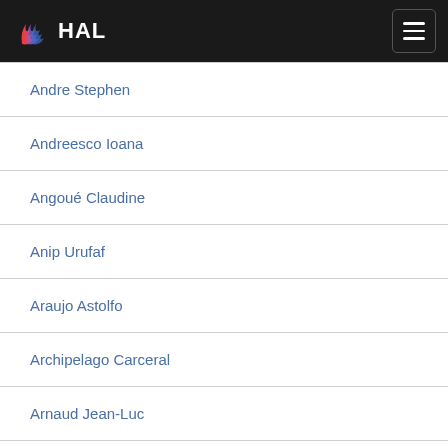HAL
Andre Stephen
Andreesco Ioana
Angoué Claudine
Anip Urufaf
Araujo Astolfo
Archipelago Carceral
Arnaud Jean-Luc
Aubanel Annie
Aubertot Jean-Noël
Aubry Régis
Aude-André Valérie